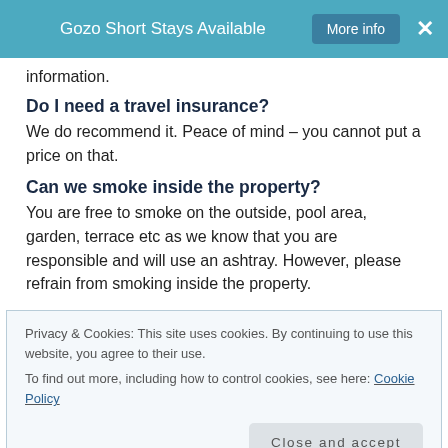Gozo Short Stays Available  More info  ×
information.
Do I need a travel insurance?
We do recommend it. Peace of mind – you cannot put a price on that.
Can we smoke inside the property?
You are free to smoke on the outside, pool area, garden, terrace etc as we know that you are responsible and will use an ashtray. However, please refrain from smoking inside the property.
Privacy & Cookies: This site uses cookies. By continuing to use this website, you agree to their use.
To find out more, including how to control cookies, see here: Cookie Policy
Close and accept